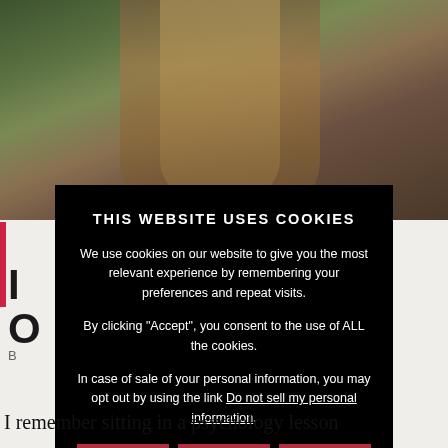[Figure (photo): Background of a webpage showing a person with long hair viewed from behind, in a forested setting. Partially visible website content behind a cookie consent modal.]
THIS WEBSITE USES COOKIES
We use cookies on our website to give you the most relevant experience by remembering your preferences and repeat visits.
By clicking "Accept", you consent to the use of ALL the cookies.
In case of sale of your personal information, you may opt out by using the link Do not sell my personal information.
ACCEPT
REJECT
Cookie Settings
I remember sitting in a psychology lesson